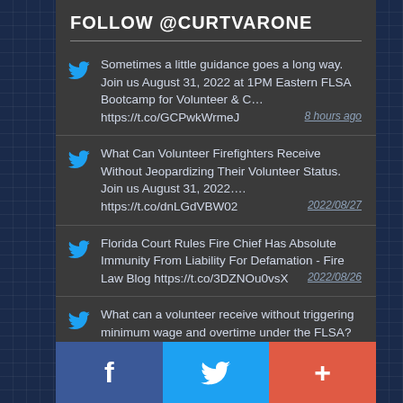FOLLOW @CURTVARONE
Sometimes a little guidance goes a long way. Join us August 31, 2022 at 1PM Eastern FLSA Bootcamp for Volunteer & C… https://t.co/GCPwkWrmeJ
What Can Volunteer Firefighters Receive Without Jeopardizing Their Volunteer Status. Join us August 31, 2022…. https://t.co/dnLGdVBW02
Florida Court Rules Fire Chief Has Absolute Immunity From Liability For Defamation - Fire Law Blog https://t.co/3DZNOu0vsX
What can a volunteer receive without triggering minimum wage and overtime under the FLSA? Join us August 31, 2022